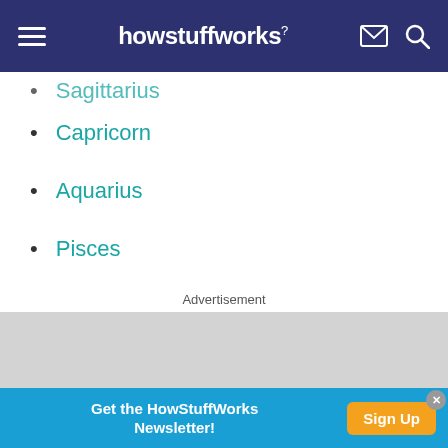howstuffworks
Sagittarius
Capricorn
Aquarius
Pisces
Advertisement
[Figure (other): Advertisement placeholder box (gray rectangle)]
Get the HowStuffWorks Newsletter! Sign Up